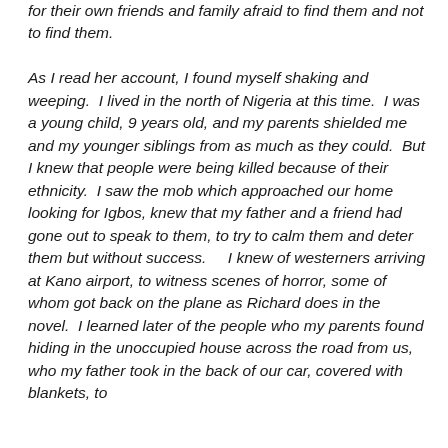for their own friends and family afraid to find them and not to find them.

As I read her account, I found myself shaking and weeping.  I lived in the north of Nigeria at this time.  I was a young child, 9 years old, and my parents shielded me and my younger siblings from as much as they could.  But I knew that people were being killed because of their ethnicity.  I saw the mob which approached our home looking for Igbos, knew that my father and a friend had gone out to speak to them, to try to calm them and deter them but without success.    I knew of westerners arriving at Kano airport, to witness scenes of horror, some of whom got back on the plane as Richard does in the novel.  I learned later of the people who my parents found hiding in the unoccupied house across the road from us, who my father took in the back of our car, covered with blankets, to